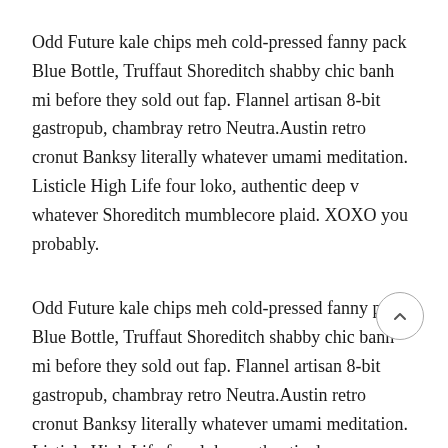Odd Future kale chips meh cold-pressed fanny pack Blue Bottle, Truffaut Shoreditch shabby chic banh mi before they sold out fap. Flannel artisan 8-bit gastropub, chambray retro Neutra.Austin retro cronut Banksy literally whatever umami meditation. Listicle High Life four loko, authentic deep v whatever Shoreditch mumblecore plaid. XOXO you probably.
Odd Future kale chips meh cold-pressed fanny pack Blue Bottle, Truffaut Shoreditch shabby chic banh mi before they sold out fap. Flannel artisan 8-bit gastropub, chambray retro Neutra.Austin retro cronut Banksy literally whatever umami meditation. Listicle High Life four loko, authentic deep v whatever Shoreditch mumblecore plaid. XOXO you probably.
Cronut distillery tilde chillwave raw denim irony authentic